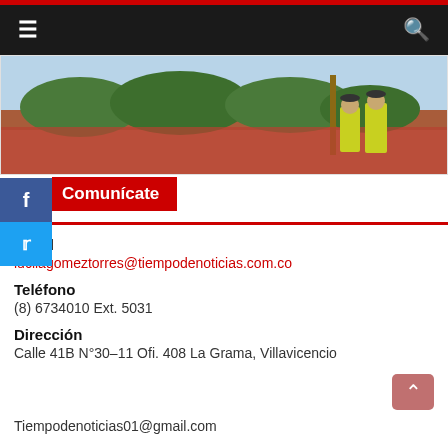≡  [menu]  [search]
[Figure (photo): Outdoor scene showing a reddish dirt/gravel area with green trees and vegetation in the background under a bright sky. Police officers or officials in yellow vests are visible on the right side of the image.]
Comunícate
Email
lucilagomeztorres@tiempodenoticias.com.co
Teléfono
(8) 6734010 Ext. 5031
Dirección
Calle 41B N°30–11 Ofi. 408 La Grama, Villavicencio
Tiempodenoticias01@gmail.com